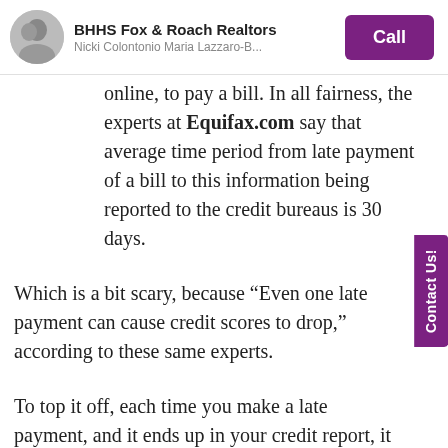BHHS Fox & Roach Realtors
Nicki Colontonio Maria Lazzaro-B...
Call
online, to pay a bill. In all fairness, the experts at Equifax.com say that average time period from late payment of a bill to this information being reported to the credit bureaus is 30 days.
Which is a bit scary, because “Even one late payment can cause credit scores to drop,” according to these same experts.
To top it off, each time you make a late payment, and it ends up in your credit report, it will remain there for seven years.